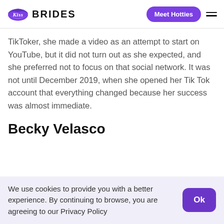Kiss Brides | Meet Hotties
TikToker, she made a video as an attempt to start on YouTube, but it did not turn out as she expected, and she preferred not to focus on that social network. It was not until December 2019, when she opened her Tik Tok account that everything changed because her success was almost immediate.
Becky Velasco
We use cookies to provide you with a better experience. By continuing to browse, you are agreeing to our Privacy Policy